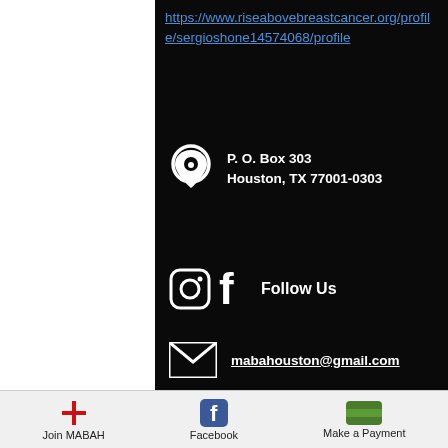https://www.riseabovebreastcancer.org/profile/sergioshone14574068/profile
P. O. Box 303
Houston, TX 77001-0303
Follow Us
mabahouston@gmail.com
Copyright © 2018 Mexican American Bar Association of Houston. All Rights Reserved.
Join MABAH   Facebook   Make a Payment